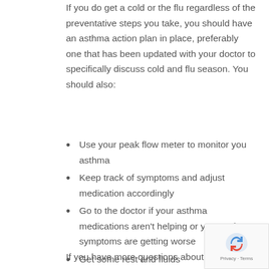If you do get a cold or the flu regardless of the preventative steps you take, you should have an asthma action plan in place, preferably one that has been updated with your doctor to specifically discuss cold and flu season. You should also:
Use your peak flow meter to monitor you asthma
Keep track of symptoms and adjust medication accordingly
Go to the doctor if your asthma medications aren't helping or your asthma symptoms are getting worse
Get some rest and fluids
If you have more questions about your asthma